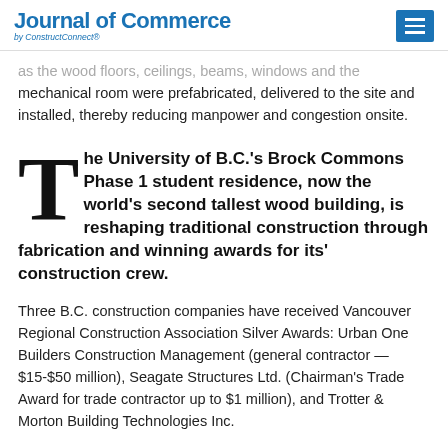Journal of Commerce by ConstructConnect®
as the wood floors, ceilings, beams, windows and the mechanical room were prefabricated, delivered to the site and installed, thereby reducing manpower and congestion onsite.
The University of B.C.'s Brock Commons Phase 1 student residence, now the world's second tallest wood building, is reshaping traditional construction through fabrication and winning awards for its' construction crew.
Three B.C. construction companies have received Vancouver Regional Construction Association Silver Awards: Urban One Builders Construction Management (general contractor — $15-$50 million), Seagate Structures Ltd. (Chairman's Trade Award for trade contractor up to $1 million), and Trotter & Morton Building Technologies Inc.